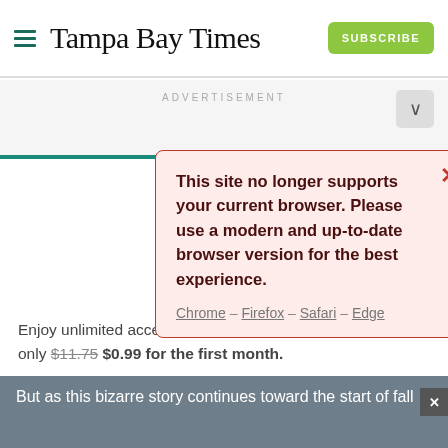Tampa Bay Times
ADVERTISEMENT
This site no longer supports your current browser. Please use a modern and up-to-date browser version for the best experience.
Chrome – Firefox – Safari – Edge
Enjoy unlimited access to tampabay.com for only $11.75 $0.99 for the first month.
Subscribe
Log In
Interested in print delivery? Subscribe here →
But as this bizarre story continues toward the start of fall